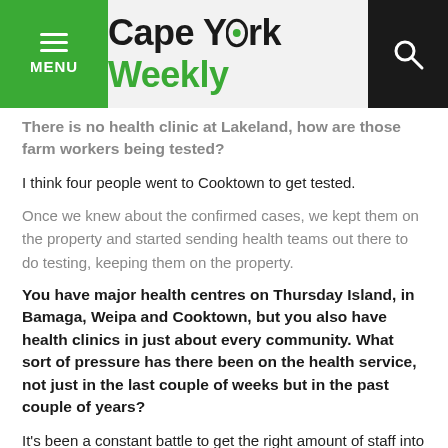Cape York Weekly
There is no health clinic at Lakeland, how are those farm workers being tested?
I think four people went to Cooktown to get tested.
Once we knew about the confirmed cases, we kept them on the property and started sending health teams out there to do testing, keeping them on the property.
You have major health centres on Thursday Island, in Bamaga, Weipa and Cooktown, but you also have health clinics in just about every community. What sort of pressure has there been on the health service, not just in the last couple of weeks but in the past couple of years?
It's been a constant battle to get the right amount of staff into each clinic consistently.